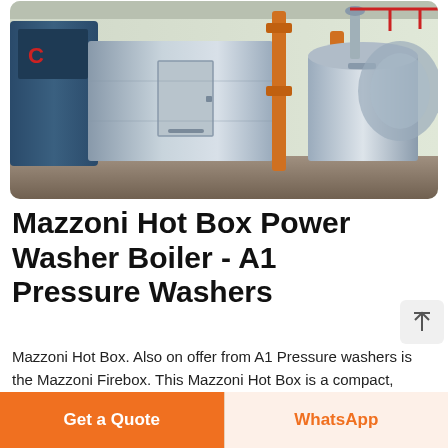[Figure (photo): Industrial stainless steel boiler units (Mazzoni Hot Box) inside a factory/warehouse setting with orange pipes and blue industrial equipment in the background. Chinese watermark text visible.]
Mazzoni Hot Box Power Washer Boiler - A1 Pressure Washers
Mazzoni Hot Box. Also on offer from A1 Pressure washers is the Mazzoni Firebox. This Mazzoni Hot Box is a compact, mobile and durable unit, and an